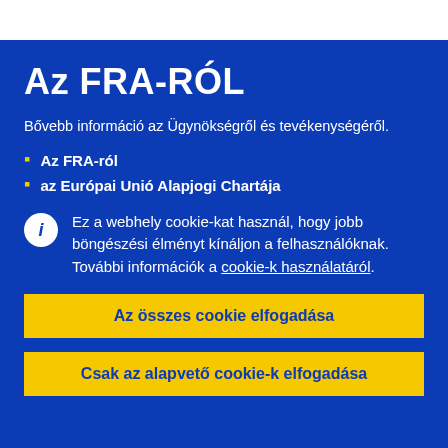Az FRA-RÓL
Bővebb információ az Ügynökségről és tevékenységéről.
Az FRA-ról
az Európai Unió Alapjogi Chartája
Ez a webhely cookie-kat használ, hogy jobb böngészési élményt kínáljon a felhasználóknak. További információk a cookie-k használatáról.
Az összes cookie elfogadása
Csak az alapvető cookie-k elfogadása